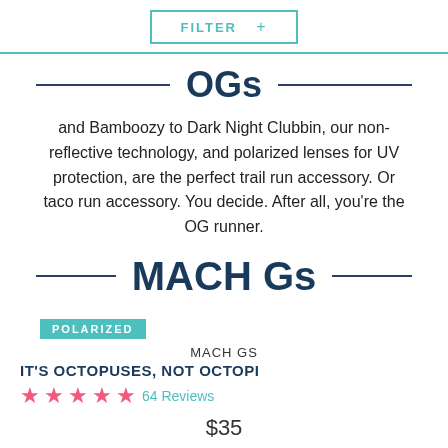FILTER +
OGs
and Bamboozy to Dark Night Clubbin, our non-reflective technology, and polarized lenses for UV protection, are the perfect trail run accessory. Or taco run accessory. You decide. After all, you're the OG runner.
MACH Gs
POLARIZED
MACH GS
IT'S OCTOPUSES, NOT OCTOPI
64 Reviews
$35
ADD TO CART